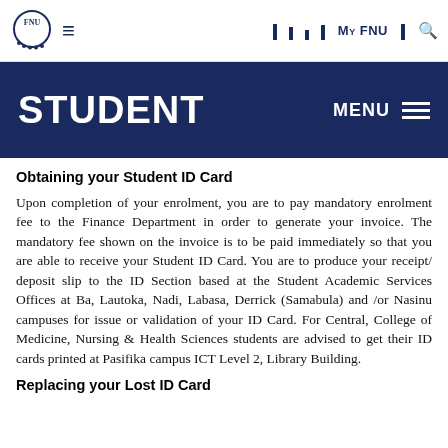FNU | My FNU
STUDENT
Obtaining your Student ID Card
Upon completion of your enrolment, you are to pay mandatory enrolment fee to the Finance Department in order to generate your invoice. The mandatory fee shown on the invoice is to be paid immediately so that you are able to receive your Student ID Card. You are to produce your receipt/ deposit slip to the ID Section based at the Student Academic Services Offices at Ba, Lautoka, Nadi, Labasa, Derrick (Samabula) and /or Nasinu campuses for issue or validation of your ID Card. For Central, College of Medicine, Nursing & Health Sciences students are advised to get their ID cards printed at Pasifika campus ICT Level 2, Library Building.
Replacing your Lost ID Card